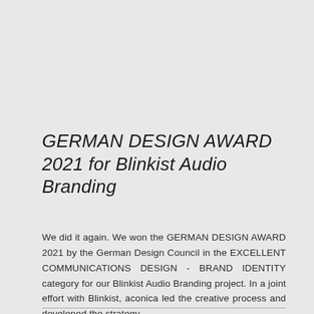GERMAN DESIGN AWARD 2021 for Blinkist Audio Branding
We did it again. We won the GERMAN DESIGN AWARD 2021 by the German Design Council in the EXCELLENT COMMUNICATIONS DESIGN - BRAND IDENTITY category for our Blinkist Audio Branding project. In a joint effort with Blinkist, aconica led the creative process and developed the strategy...